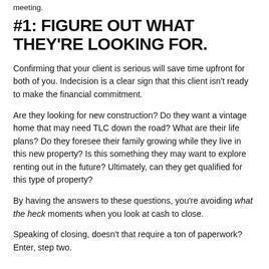meeting.
#1: FIGURE OUT WHAT THEY'RE LOOKING FOR.
Confirming that your client is serious will save time upfront for both of you. Indecision is a clear sign that this client isn't ready to make the financial commitment.
Are they looking for new construction? Do they want a vintage home that may need TLC down the road? What are their life plans? Do they foresee their family growing while they live in this new property? Is this something they may want to explore renting out in the future? Ultimately, can they get qualified for this type of property?
By having the answers to these questions, you're avoiding what the heck moments when you look at cash to close.
Speaking of closing, doesn't that require a ton of paperwork? Enter, step two.